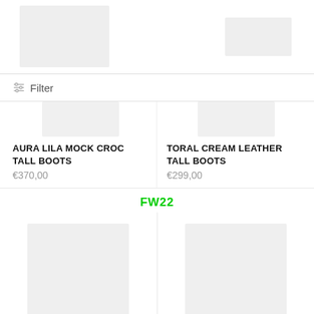[Figure (screenshot): Top placeholder images for product thumbnails (partially visible)]
Filter
[Figure (screenshot): Partially visible product images above product listings]
AURA LILA MOCK CROC TALL BOOTS
€370,00
TORAL CREAM LEATHER TALL BOOTS
€299,00
FW22
[Figure (photo): Bottom product images (partially visible boots)]